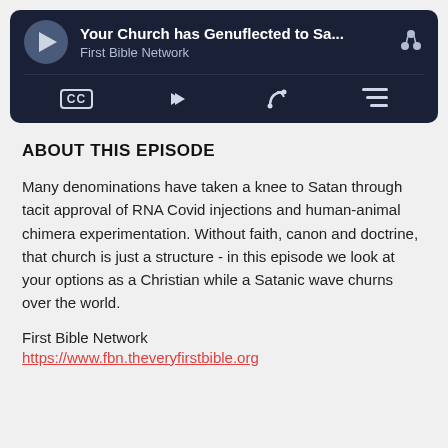[Figure (screenshot): Podcast player bar with play button, title 'Your Church has Genuflected to Sa...', subtitle 'First Bible Network', and control icons (CC, share, RSS, menu)]
ABOUT THIS EPISODE
Many denominations have taken a knee to Satan through tacit approval of RNA Covid injections and human-animal chimera experimentation. Without faith, canon and doctrine, that church is just a structure - in this episode we look at your options as a Christian while a Satanic wave churns over the world.
First Bible Network
https://www.fbn.theveryfirstbible.org